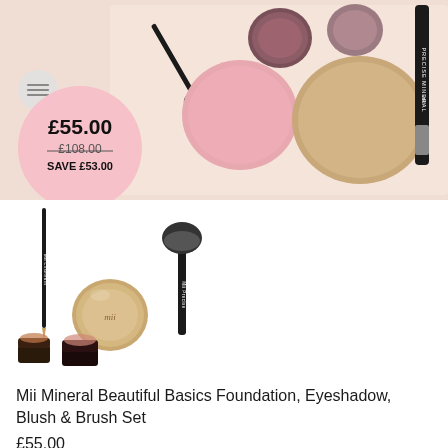[Figure (photo): Mii makeup palette promotional banner showing eyeshadow pans, blush, bronzer, makeup brushes on a peach background with price bubble showing £55.00, was £108.00, save £53.00]
[Figure (photo): Mii Mineral Beautiful Basics Foundation, Eyeshadow, Blush & Brush Set product image showing makeup brushes, foundation compact, small cosmetic pots on white background]
Mii Mineral Beautiful Basics Foundation, Eyeshadow, Blush & Brush Set
£55.00